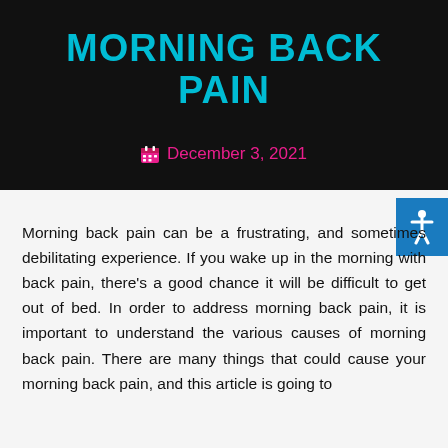MORNING BACK PAIN
December 3, 2021
Morning back pain can be a frustrating, and sometimes debilitating experience. If you wake up in the morning with back pain, there’s a good chance it will be difficult to get out of bed. In order to address morning back pain, it is important to understand the various causes of morning back pain. There are many things that could cause your morning back pain, and this article is going to